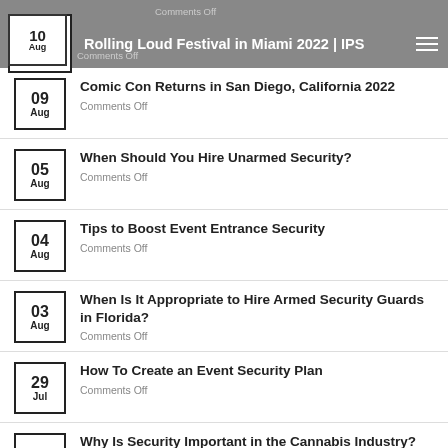Rolling Loud Festival in Miami 2022 | IPS
09 Aug — Comic Con Returns in San Diego, California 2022 — Comments Off
05 Aug — When Should You Hire Unarmed Security? — Comments Off
04 Aug — Tips to Boost Event Entrance Security — Comments Off
03 Aug — When Is It Appropriate to Hire Armed Security Guards in Florida? — Comments Off
29 Jul — How To Create an Event Security Plan — Comments Off
28 — Why Is Security Important in the Cannabis Industry?